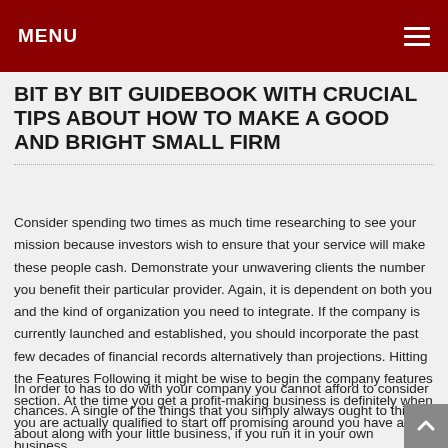MENU
BIT BY BIT GUIDEBOOK WITH CRUCIAL TIPS ABOUT HOW TO MAKE A GOOD AND BRIGHT SMALL FIRM
Consider spending two times as much time researching to see your mission because investors wish to ensure that your service will make these people cash. Demonstrate your unwavering clients the number you benefit their particular provider. Again, it is dependent on both you and the kind of organization you need to integrate. If the company is currently launched and established, you should incorporate the past few decades of financial records alternatively than projections. Hitting the Features Following it might be wise to begin the company features section. At the time you get a profit-making business is definitely when you are actually qualified to start off promising around you have a business.
In order to has to do with your company you cannot afford to consider chances. A single of the things that you simply always ought to think about along with your little business, if you run it in your own